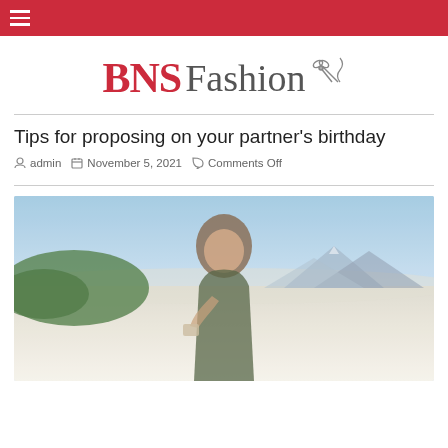BNS Fashion
Tips for proposing on your partner's birthday
admin  November 5, 2021  Comments Off
[Figure (photo): Woman outdoors in a sandy/desert landscape with mountains and green hills in the background, holding something in her hand (likely a ring box), smiling.]